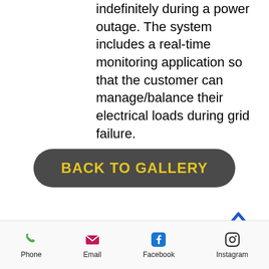indefinitely during a power outage. The system includes a real-time monitoring application so that the customer can manage/balance their electrical loads during grid failure.
[Figure (other): Dark rounded rectangle button with yellow bold text reading 'BACK TO GALLERY']
[Figure (other): Blue upward chevron/caret icon for scrolling to top]
[Figure (other): Row of social media icons (Facebook, Twitter, Instagram, and another) in gray]
Phone  Email  Facebook  Instagram